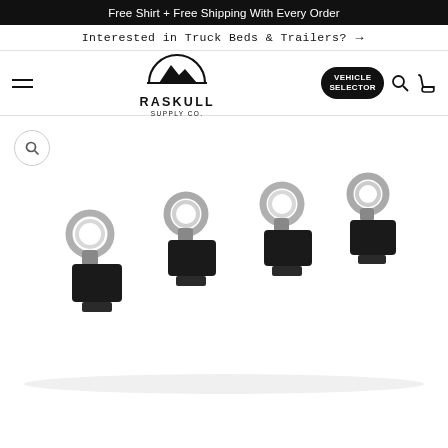Free Shirt + Free Shipping With Every Order
Interested in Truck Beds & Trailers? →
[Figure (logo): Raskull Supply Co. mountain logo with circular badge and company name text below]
[Figure (photo): Four black metal tie-down anchor/eye bolt hardware pieces lined up in a row, each with a silver ring and black base with T-slot channel clip]